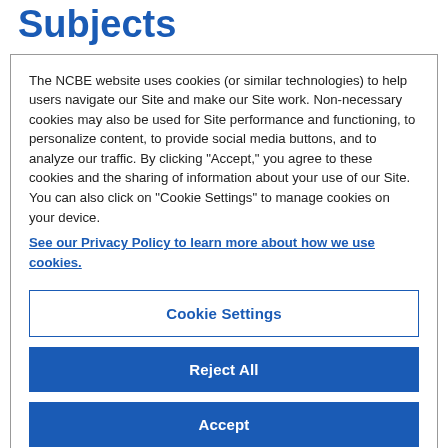Subjects
The NCBE website uses cookies (or similar technologies) to help users navigate our Site and make our Site work. Non-necessary cookies may also be used for Site performance and functioning, to personalize content, to provide social media buttons, and to analyze our traffic. By clicking "Accept," you agree to these cookies and the sharing of information about your use of our Site. You can also click on "Cookie Settings" to manage cookies on your device.
See our Privacy Policy to learn more about how we use cookies.
Cookie Settings
Reject All
Accept